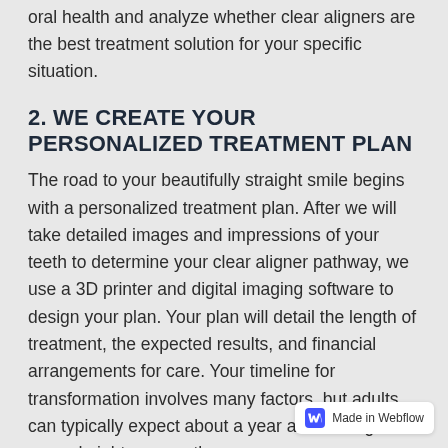oral health and analyze whether clear aligners are the best treatment solution for your specific situation.
2. WE CREATE YOUR PERSONALIZED TREATMENT PLAN
The road to your beautifully straight smile begins with a personalized treatment plan. After we will take detailed images and impressions of your teeth to determine your clear aligner pathway, we use a 3D printer and digital imaging software to design your plan. Your plan will detail the length of treatment, the expected results, and financial arrangements for care. Your timeline for transformation involves many factors, but adults can typically expect about a year and teenagers around eighteen months.